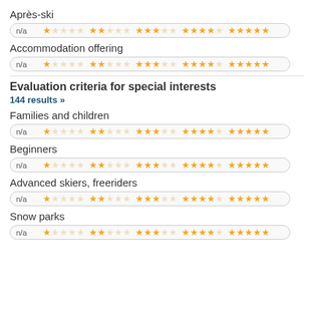Après-ski
[Figure (infographic): Rating bar for Après-ski with n/a and 5 star groups (1,2,3,4,5 filled stars)]
Accommodation offering
[Figure (infographic): Rating bar for Accommodation offering with n/a and 5 star groups]
Evaluation criteria for special interests
144 results »
Families and children
[Figure (infographic): Rating bar for Families and children with n/a and 5 star groups]
Beginners
[Figure (infographic): Rating bar for Beginners with n/a and 5 star groups]
Advanced skiers, freeriders
[Figure (infographic): Rating bar for Advanced skiers, freeriders with n/a and 5 star groups]
Snow parks
[Figure (infographic): Rating bar for Snow parks with n/a and 5 star groups]